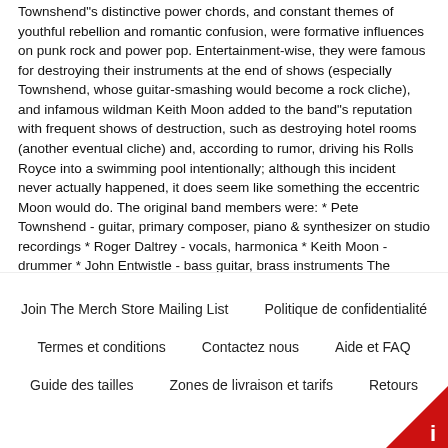Townshend"s distinctive power chords, and constant themes of youthful rebellion and romantic confusion, were formative influences on punk rock and power pop. Entertainment-wise, they were famous for destroying their instruments at the end of shows (especially Townshend, whose guitar-smashing would become a rock cliche), and infamous wildman Keith Moon added to the band"s reputation with frequent shows of destruction, such as destroying hotel rooms (another eventual cliche) and, according to rumor, driving his Rolls Royce into a swimming pool intentionally; although this incident never actually happened, it does seem like something the eccentric Moon would do. The original band members were: * Pete Townshend - guitar, primary composer, piano & synthesizer on studio recordings * Roger Daltrey - vocals, harmonica * Keith Moon - drummer * John Entwistle - bass guitar, brass instruments The band"s classic era, and in many respects the band itself, ended in 1978 with the untimely death of the inimitable Keith Moon. Sounds and performances On stage Early years Each of the eventual band members played in various early versions of The Who and in other groups.
Join The Merch Store Mailing List   Politique de confidentialité   Termes et conditions   Contactez nous   Aide et FAQ   Guide des tailles   Zones de livraison et tarifs   Retours